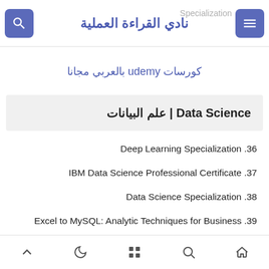نادي القراءة العملية | Specialization
كورسات udemy بالعربي مجانا
Data Science | علم البيانات
.36 Deep Learning Specialization
.37 IBM Data Science Professional Certificate
.38 Data Science Specialization
.39 Excel to MySQL: Analytic Techniques for Business Specialization